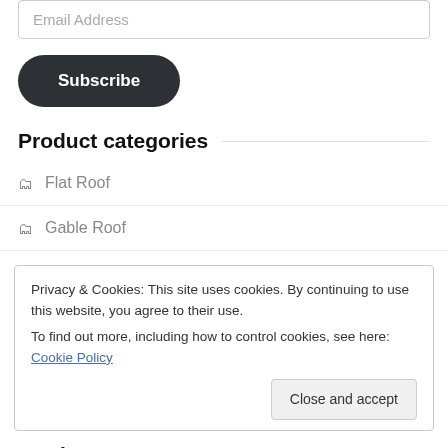[Figure (screenshot): Email Address input field]
[Figure (screenshot): Subscribe button with dark rounded background]
Product categories
Flat Roof
Gable Roof
Privacy & Cookies: This site uses cookies. By continuing to use this website, you agree to their use.
To find out more, including how to control cookies, see here: Cookie Policy
[Figure (screenshot): Close and accept button]
Product tags